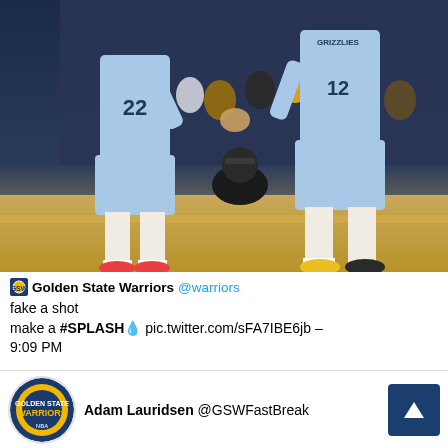[Figure (photo): Two Memphis Grizzlies basketball players in light blue uniforms (numbers 22 and 12) high-fiving on an NBA court, with crowd in background]
Golden State Warriors @warriors
fake a shot
make a #SPLASH💧 pic.twitter.com/sFA7IBE6jb – 9:09 PM
Adam Lauridsen @GSWFastBreak